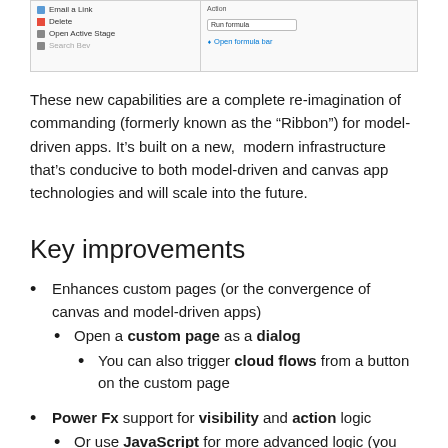[Figure (screenshot): Partial screenshot of a model-driven app command/ribbon editor UI showing menu items like Email a Link, Delete, Open Active Stage, Search Bev on left panel, and Action/Run formula fields on the right panel.]
These new capabilities are a complete re-imagination of commanding (formerly known as the “Ribbon”) for model-driven apps. It’s built on a new,  modern infrastructure that’s conducive to both model-driven and canvas app technologies and will scale into the future.
Key improvements
Enhances custom pages (or the convergence of canvas and model-driven apps)
Open a custom page as a dialog
You can also trigger cloud flows from a button on the custom page
Power Fx support for visibility and action logic
Or use JavaScript for more advanced logic (you may also continue using existing JavaScript as-is)